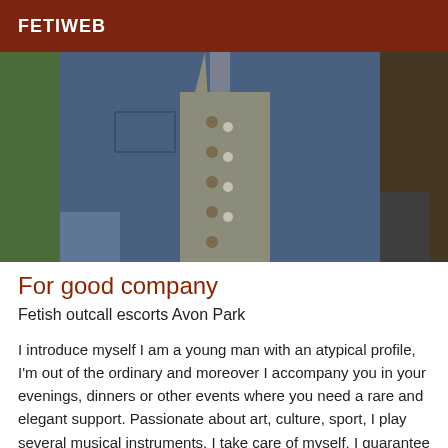FETIWEB
[Figure (photo): Torso shot of a man wearing a blue denim jacket over a grey shirt, outdoors with green foliage in background.]
For good company
Fetish outcall escorts Avon Park
I introduce myself I am a young man with an atypical profile, I'm out of the ordinary and moreover I accompany you in your evenings, dinners or other events where you need a rare and elegant support. Passionate about art, culture, sport, I play several musical instruments, I take care of myself, I guarantee a quality presence. To any the conversation it is all...